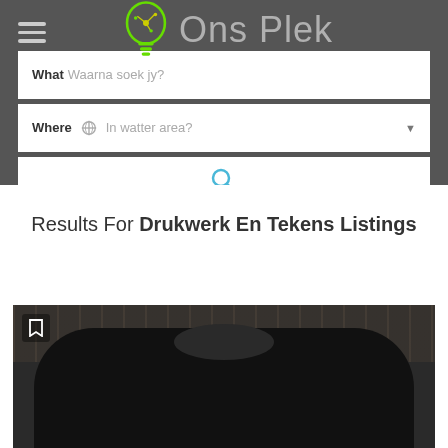[Figure (logo): Ons Plek logo: green lightbulb icon with circuit board pattern and text 'Ons Plek' in grey on dark background]
What Waarna soek jy?
Where In watter area?
[Figure (other): Search button with magnifying glass icon]
Results For Drukwerk En Tekens Listings
[Figure (photo): Black t-shirt on wooden surface background, with bookmark icon in top left corner]